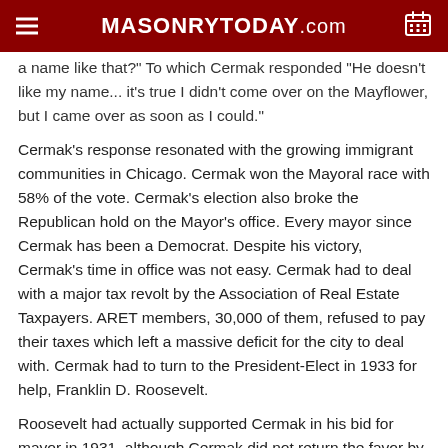MASONRYTODAY.com
a name like that?" To which Cermak responded "He doesn't like my name... it's true I didn't come over on the Mayflower, but I came over as soon as I could."
Cermak's response resonated with the growing immigrant communities in Chicago. Cermak won the Mayoral race with 58% of the vote. Cermak's election also broke the Republican hold on the Mayor's office. Every mayor since Cermak has been a Democrat. Despite his victory, Cermak's time in office was not easy. Cermak had to deal with a major tax revolt by the Association of Real Estate Taxpayers. ARET members, 30,000 of them, refused to pay their taxes which left a massive deficit for the city to deal with. Cermak had to turn to the President-Elect in 1933 for help, Franklin D. Roosevelt.
Roosevelt had actually supported Cermak in his bid for mayor in 1931, although Cermak did not return the favor by supporting Presidential nomination. Because of this, Cermak to mend fences with Roosevelt, went to see him in